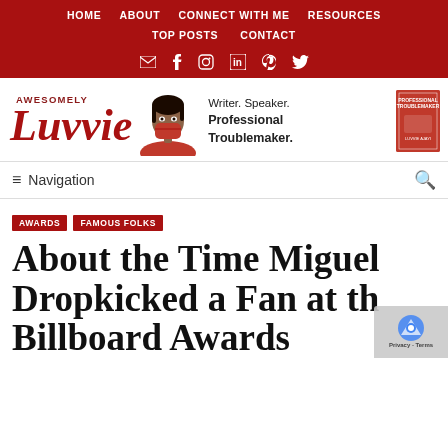HOME  ABOUT  CONNECT WITH ME  RESOURCES  TOP POSTS  CONTACT
[Figure (logo): Awesomely Luvvie blog logo with script lettering, portrait illustration with red mask, tagline 'Writer. Speaker. Professional Troublemaker.' and book cover]
≡ Navigation
AWARDS
FAMOUS FOLKS
About the Time Miguel Dropkicked a Fan at the Billboard Awards